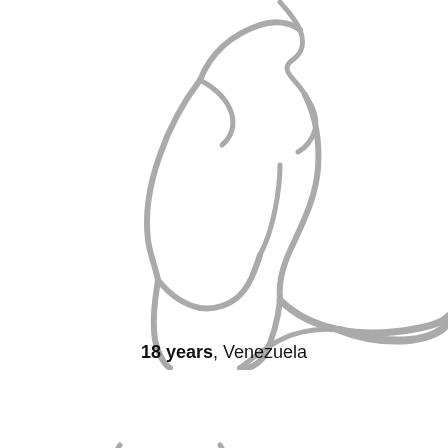[Figure (illustration): Gray line art illustration of a female silhouette figure, seated pose, shown from behind/side, minimalist style on white background]
18 years, Venezuela
CHAT
[Figure (illustration): Partial gray line art illustration of female figure, bottom portion, visible at bottom of page]